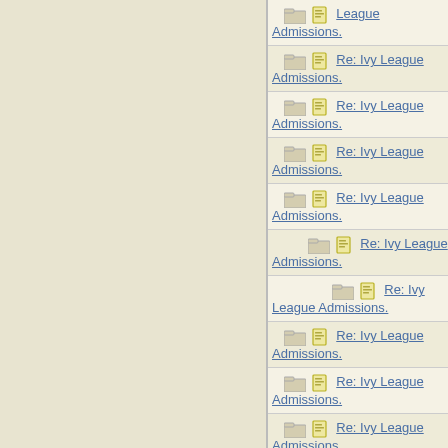| Thread | Author |
| --- | --- |
| Re: Ivy League Admissions. | 22B |
| Re: Ivy League Admissions. | Wren |
| Re: Ivy League Admissions. | Tigerle |
| Re: Ivy League Admissions. | JonLaw |
| Re: Ivy League Admissions. | Bostonia |
| Re: Ivy League Admissions. | Tigerle |
| Re: Ivy League Admissions. | Val |
| Re: Ivy League Admissions. | Tigerle |
| Re: Ivy League Admissions. | HowlerK |
| Re: Ivy League Admissions. | Val |
| Re: Ivy League Admissions. | Tigerle |